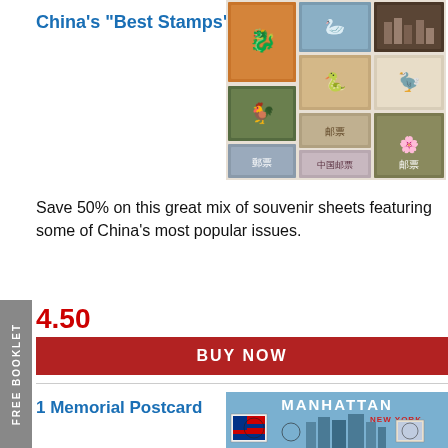China's "Best Stamps"
[Figure (photo): Collage of China souvenir stamp sheets featuring various designs including zodiac animals, landscapes, and cultural imagery]
Save 50% on this great mix of souvenir sheets featuring some of China's most popular issues.
4.50
BUY NOW
1 Memorial Postcard
[Figure (photo): Manhattan New York memorial postcard showing American flag stamp, New York skyline, and circular cancellation postmarks]